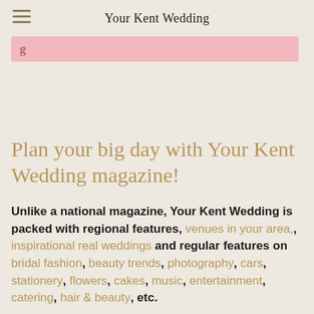Your Kent Wedding
[Figure (other): Pink banner with partial bold text visible]
Plan your big day with Your Kent Wedding magazine!
Unlike a national magazine, Your Kent Wedding is packed with regional features, venues in your area, inspirational real weddings and regular features on bridal fashion, beauty trends, photography, cars, stationery, flowers, cakes, music, entertainment, catering, hair & beauty, etc.